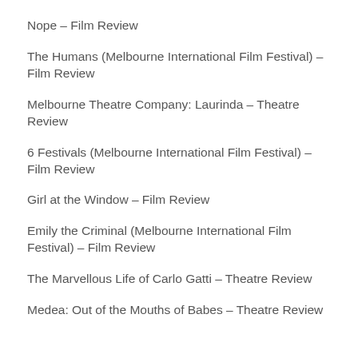Nope – Film Review
The Humans (Melbourne International Film Festival) – Film Review
Melbourne Theatre Company: Laurinda – Theatre Review
6 Festivals (Melbourne International Film Festival) – Film Review
Girl at the Window – Film Review
Emily the Criminal (Melbourne International Film Festival) – Film Review
The Marvellous Life of Carlo Gatti – Theatre Review
Medea: Out of the Mouths of Babes – Theatre Review